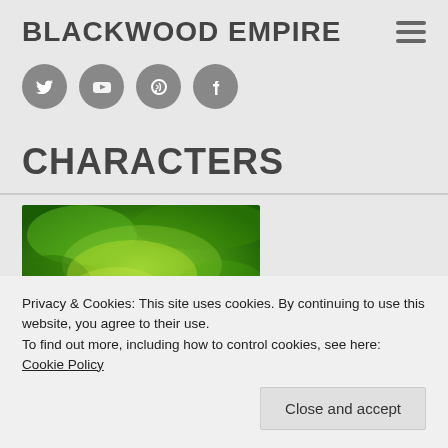BLACKWOOD EMPIRE
[Figure (other): Social media icons: Twitter, YouTube, RSS/feed, Facebook — grey circles with white icons]
CHARACTERS
[Figure (illustration): Partial illustration of a green character, appears to be a cartoon/comic figure with yellow-green tones]
Privacy & Cookies: This site uses cookies. By continuing to use this website, you agree to their use.
To find out more, including how to control cookies, see here: Cookie Policy
Close and accept